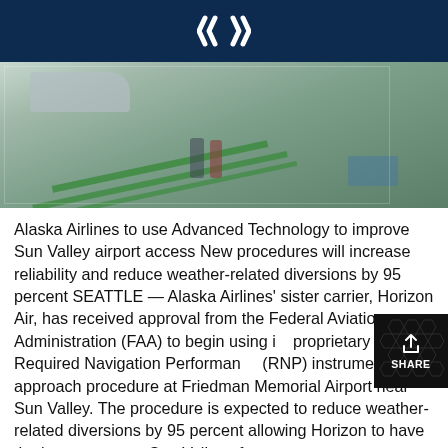[Figure (photo): Airport tarmac scene with people walking near an aircraft, green painted lines on the ground]
Alaska Airlines to use Advanced Technology to improve Sun Valley airport access New procedures will increase reliability and reduce weather-related diversions by 95 percent SEATTLE — Alaska Airlines' sister carrier, Horizon Air, has received approval from the Federal Aviation Administration (FAA) to begin using its proprietary Required Navigation Performance (RNP) instrument approach procedure at Friedman Memorial Airport near Sun Valley. The procedure is expected to reduce weather-related diversions by 95 percent allowing Horizon to have the best access to Sun Valley of